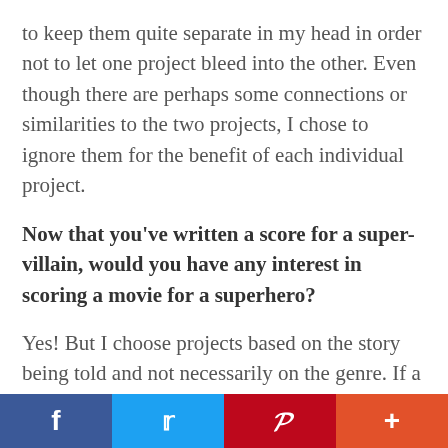to keep them quite separate in my head in order not to let one project bleed into the other. Even though there are perhaps some connections or similarities to the two projects, I chose to ignore them for the benefit of each individual project.
Now that you've written a score for a super-villain, would you have any interest in scoring a movie for a superhero?
Yes! But I choose projects based on the story being told and not necessarily on the genre. If a story interests me and lights my curiosity